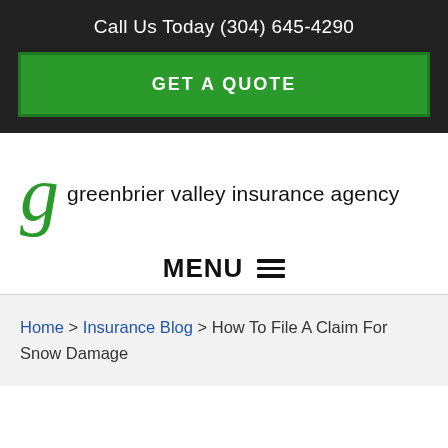Call Us Today (304) 645-4290
GET A QUOTE
[Figure (logo): Greenbrier Valley Insurance Agency logo with a large green italic 'g' followed by the text 'greenbrier valley insurance agency']
MENU
Home > Insurance Blog > How To File A Claim For Snow Damage